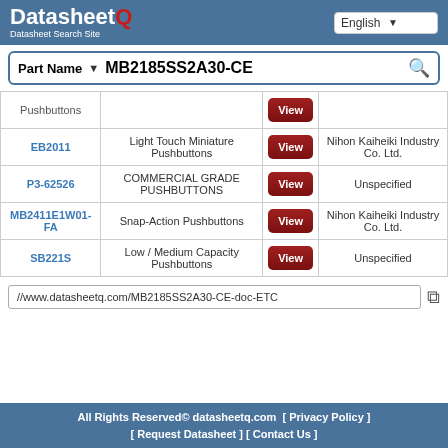[Figure (logo): DatasheetQ logo with red Q letter and subtitle 'Datasheet Search Site']
| Part Name | Description |  | Manufacturer |
| --- | --- | --- | --- |
| Pushbuttons |  | View |  |
| EB2011 | Light Touch Miniature Pushbuttons | View | Nihon Kaiheiki Industry Co. Ltd. |
| P3-62526 | COMMERCIAL GRADE PUSHBUTTONS | View | Unspecified |
| MB2411E1W01-FA | Snap-Action Pushbuttons | View | Nihon Kaiheiki Industry Co. Ltd. |
| SB221S | Low / Medium Capacity Pushbuttons | View | Unspecified |
//www.datasheetq.com/MB2185SS2A30-CE-doc-ETC
All Rights Reserved© datasheetq.com [ Privacy Policy ] [ Request Datasheet ] [ Contact Us ]